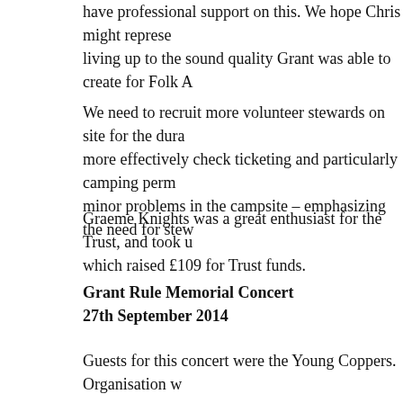have professional support on this. We hope Chris might represe living up to the sound quality Grant was able to create for Folk A
We need to recruit more volunteer stewards on site for the dura more effectively check ticketing and particularly camping perm minor problems in the campsite – emphasizing the need for stew
Graeme Knights was a great enthusiast for the Trust, and took u which raised £109 for Trust funds.
Grant Rule Memorial Concert
27th September 2014
Guests for this concert were the Young Coppers. Organisation w poor admin by the Eden Centre. As a result, we held the event a the end suited the unique and informal style of the Coppers. Ma the Trust discovered an unexpected enjoyment of this very tradi
Despite early worries, there was an excellent turnout for the eve